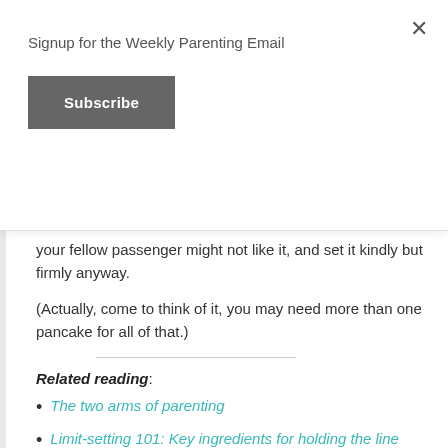Signup for the Weekly Parenting Email
Subscribe
your fellow passenger might not like it, and set it kindly but firmly anyway.
(Actually, come to think of it, you may need more than one pancake for all of that.)
Related reading:
The two arms of parenting
Limit-setting 101: Key ingredients for holding the line